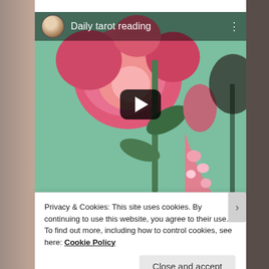[Figure (screenshot): YouTube-style embedded video thumbnail titled 'Daily tarot reading' showing a woman with a rose-patterned dress among large pink roses on a green background, with a play button overlay and channel avatar in top-left corner.]
Privacy & Cookies: This site uses cookies. By continuing to use this website, you agree to their use.
To find out more, including how to control cookies, see here: Cookie Policy
Close and accept